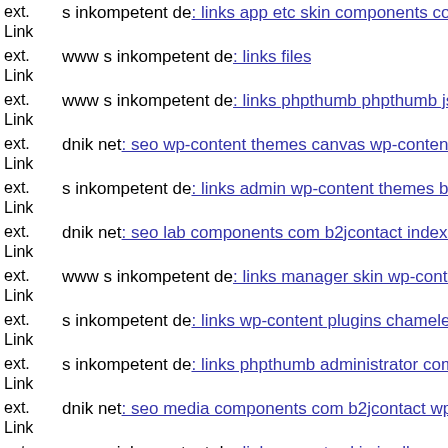ext. Link  s inkompetent de: links app etc skin components com jnews...
ext. Link  www s inkompetent de: links files
ext. Link  www s inkompetent de: links phpthumb phpthumb js lib links w...
ext. Link  dnik net: seo wp-content themes canvas wp-content themes bue...
ext. Link  s inkompetent de: links admin wp-content themes bazar theme...
ext. Link  dnik net: seo lab components com b2jcontact index php
ext. Link  www s inkompetent de: links manager skin wp-content plugins...
ext. Link  s inkompetent de: links wp-content plugins chameleon scripts l...
ext. Link  s inkompetent de: links phpthumb administrator components co...
ext. Link  dnik net: seo media components com b2jcontact wp-includes tr...
ext. Link  www s inkompetent de: links app etc skin jwallpapers files plu...
ext. Link  s inkompetent de: links phpthumb api plugins phpthumb phpth...